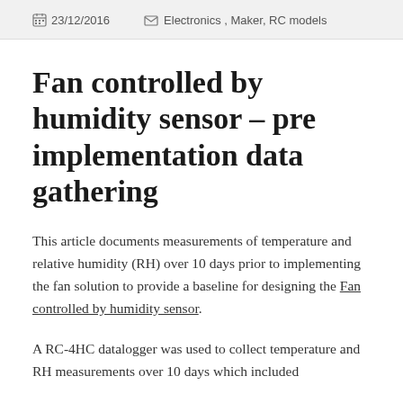23/12/2016   Electronics, Maker, RC models
Fan controlled by humidity sensor – pre implementation data gathering
This article documents measurements of temperature and relative humidity (RH) over 10 days prior to implementing the fan solution to provide a baseline for designing the Fan controlled by humidity sensor.
A RC-4HC datalogger was used to collect temperature and RH measurements over 10 days which included